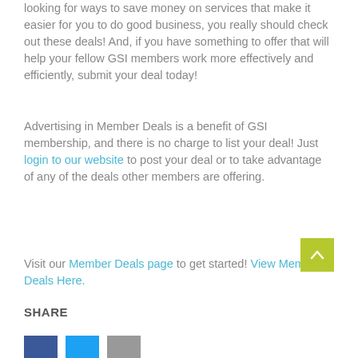looking for ways to save money on services that make it easier for you to do good business, you really should check out these deals! And, if you have something to offer that will help your fellow GSI members work more effectively and efficiently, submit your deal today!
Advertising in Member Deals is a benefit of GSI membership, and there is no charge to list your deal! Just login to our website to post your deal or to take advantage of any of the deals other members are offering.
Visit our Member Deals page to get started! View Member Deals Here.
SHARE